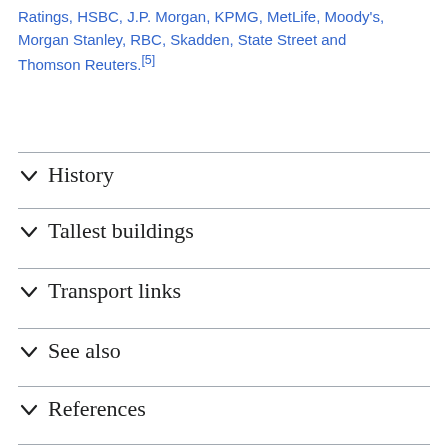Ratings, HSBC, J.P. Morgan, KPMG, MetLife, Moody's, Morgan Stanley, RBC, Skadden, State Street and Thomson Reuters.[5]
History
Tallest buildings
Transport links
See also
References